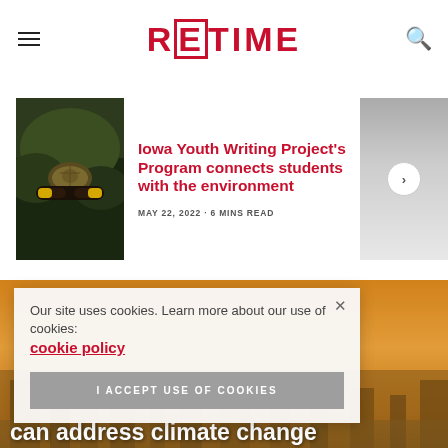RETIME
Iowa Youth Writing Project's Program connects students with the environment
MAY 22, 2022 · 6 MINS READ
[Figure (photo): Photo of a person holding a turtle outdoors with foliage in background]
[Figure (photo): Partially visible image with gradient overlay]
[Figure (photo): Aerial view of an industrial city with hazy orange sky]
Our site uses cookies. Learn more about our use of cookies: cookie policy
I ACCEPT USE OF COOKIES
...atives can address climate change